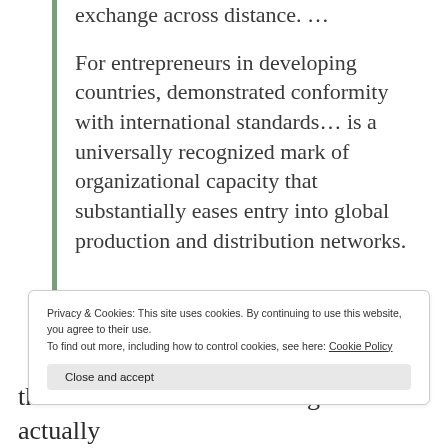exchange across distance. …
For entrepreneurs in developing countries, demonstrated conformity with international standards… is a universally recognized mark of organizational capacity that substantially eases entry into global production and distribution networks.
Privacy & Cookies: This site uses cookies. By continuing to use this website, you agree to their use.
To find out more, including how to control cookies, see here: Cookie Policy
Close and accept
that it knows what it is doing and will actually